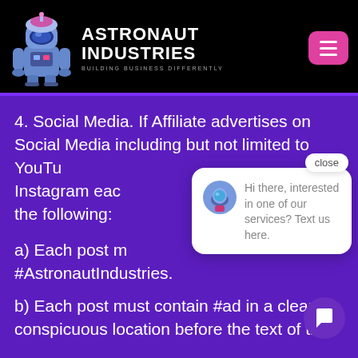[Figure (logo): Astronaut Industries logo with robot mascot and text ASTRONAUT INDUSTRIES BUILDING BUSINESS DIFFERENTLY on black header bar]
4. Social Media. If Affiliate advertises on Social Media including but not limited to YouTube, Instagram each the following:
a) Each post m... #AstronautIndustries.
b) Each post must contain #ad in a clear conspicuous location before the text of the
[Figure (screenshot): Chat popup widget with close button, astronaut avatar, and message: Hi there, interested in one of our services? Text us here.]